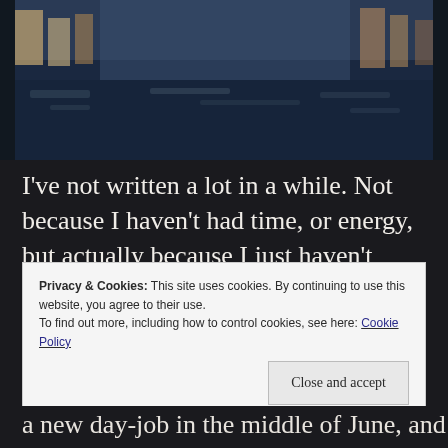[Figure (photo): Photograph of a canal or river at dusk with buildings reflected in the water, dark blue tones]
I've not written a lot in a while. Not because I haven't had time, or energy, but actually because I just haven't wanted to.
And that's okay.
Privacy & Cookies: This site uses cookies. By continuing to use this website, you agree to their use. To find out more, including how to control cookies, see here: Cookie Policy
a new day-job in the middle of June, and I've